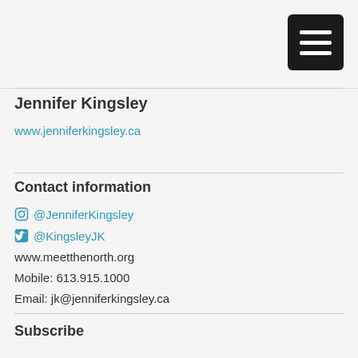[Figure (other): Hamburger menu icon — three white horizontal bars on a black rounded rectangle background]
Jennifer Kingsley
www.jenniferkingsley.ca
Contact information
@JenniferKingsley (Instagram)
@KingsleyJK (Twitter)
www.meetthenorth.org
Mobile: 613.915.1000
Email: jk@jenniferkingsley.ca
Subscribe